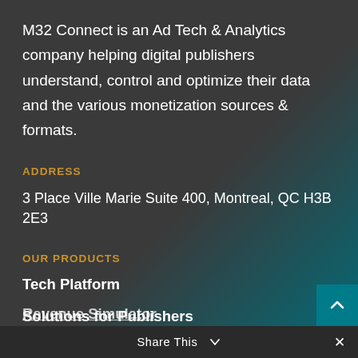M32 Connect is an Ad Tech & Analytics company helping digital publishers understand, control and optimize their data and the various monetization sources & formats.
ADDRESS
3 Place Ville Marie Suite 400, Montreal, QC H3B 2E3
OUR PRODUCTS
Tech Platform
Solutions for Publishers
Solutions for Buyers
Self-serve
Programmatic
Revenue Simulator
Share This ∨  ✕